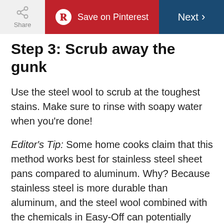Share | Save on Pinterest | Next
Step 3: Scrub away the gunk
Use the steel wool to scrub at the toughest stains. Make sure to rinse with soapy water when you're done!
Editor's Tip: Some home cooks claim that this method works best for stainless steel sheet pans compared to aluminum. Why? Because stainless steel is more durable than aluminum, and the steel wool combined with the chemicals in Easy-Off can potentially cause pitting on your baking sheet, and potentially, scratches—so you'll want to play it safe